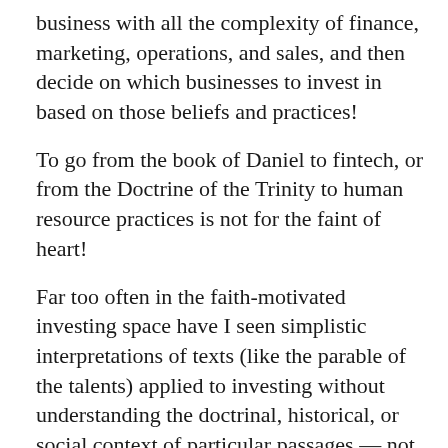business with all the complexity of finance, marketing, operations, and sales, and then decide on which businesses to invest in based on those beliefs and practices!
To go from the book of Daniel to fintech, or from the Doctrine of the Trinity to human resource practices is not for the faint of heart!
Far too often in the faith-motivated investing space have I seen simplistic interpretations of texts (like the parable of the talents) applied to investing without understanding the doctrinal, historical, or social context of particular passages — not to mention their own biases in reading the Bible as 21st-century, American Christians. Just like finance, doing theology well requires knowledge, practice, and a breadth of learning.
The reality is, we need exp[menu icon]who can help wade through these waters if we actually want our core